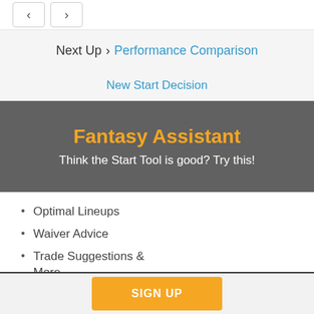‹  ›
Next Up › Performance Comparison
New Start Decision
Fantasy Assistant
Think the Start Tool is good? Try this!
Optimal Lineups
Waiver Advice
Trade Suggestions & More
SIGN UP